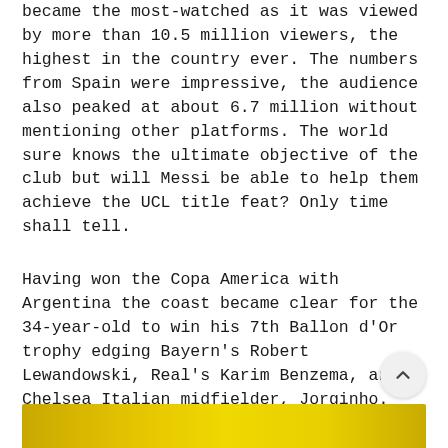became the most-watched as it was viewed by more than 10.5 million viewers, the highest in the country ever. The numbers from Spain were impressive, the audience also peaked at about 6.7 million without mentioning other platforms. The world sure knows the ultimate objective of the club but will Messi be able to help them achieve the UCL title feat? Only time shall tell.
Having won the Copa America with Argentina the coast became clear for the 34-year-old to win his 7th Ballon d'Or trophy edging Bayern's Robert Lewandowski, Real's Karim Benzema, and Chelsea Italian midfielder, Jorginho. This award got the world talking, and once again beamed the lights on the credibility of the awards.
[Figure (photo): Bottom portion of a golden/yellow image, partially visible at the bottom of the page]